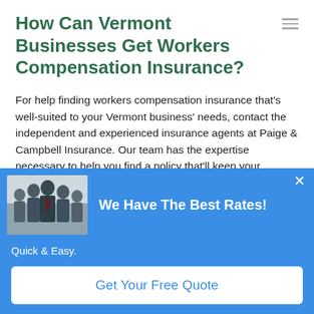How Can Vermont Businesses Get Workers Compensation Insurance?
For help finding workers compensation insurance that’s well-suited to your Vermont business’ needs, contact the independent and experienced insurance agents at Paige & Campbell Insurance. Our team has the expertise necessary to help you find a policy that’ll keep your business in line with all applicable coverage requirements and offers strong protection. They’ll also help you get a great rate, since they can show you policies and premiums from different insurers
[Figure (photo): Group of business professionals in formal attire standing together]
We Have The Best Rates!
Quick & Easy.
Get Your Free Quote